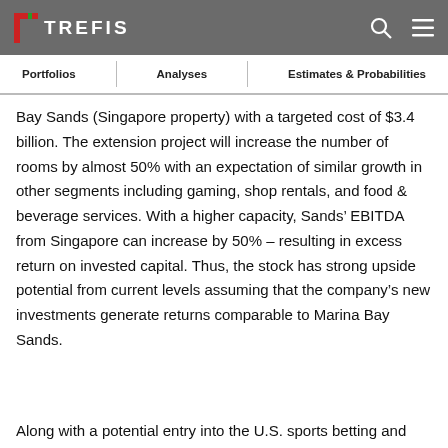TREFIS
Portfolios | Analyses | Estimates & Probabilities
Bay Sands (Singapore property) with a targeted cost of $3.4 billion. The extension project will increase the number of rooms by almost 50% with an expectation of similar growth in other segments including gaming, shop rentals, and food & beverage services. With a higher capacity, Sands' EBITDA from Singapore can increase by 50% – resulting in excess return on invested capital. Thus, the stock has strong upside potential from current levels assuming that the company's new investments generate returns comparable to Marina Bay Sands.
Along with a potential entry into the U.S. sports betting and